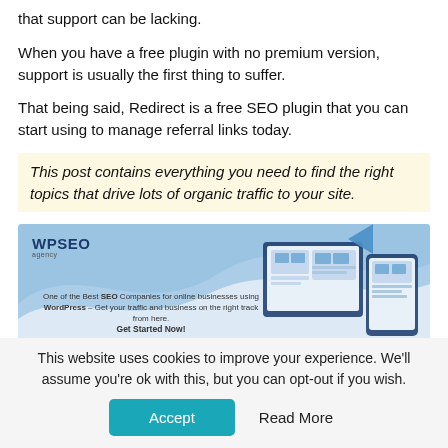that support can be lacking.
When you have a free plugin with no premium version, support is usually the first thing to suffer.
That being said, Redirect is a free SEO plugin that you can start using to manage referral links today.
This post contains everything you need to find the right topics that drive lots of organic traffic to your site.
[Figure (illustration): WPSEO Agency advertisement banner with logo, tagline about being one of the Best SEO Companies for online businesses using WordPress, and illustrations of devices (tablet, smartphone) showing website layouts.]
This website uses cookies to improve your experience. We'll assume you're ok with this, but you can opt-out if you wish.
Accept
Read More